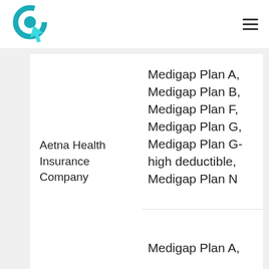[Figure (logo): Circular teal logo with a cursor/click icon]
Aetna Health Insurance Company
Medigap Plan A, Medigap Plan B, Medigap Plan F, Medigap Plan G, Medigap Plan G-high deductible, Medigap Plan N
Medigap Plan A,